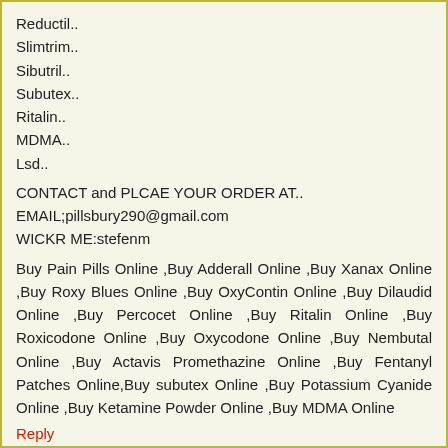Reductil..
Slimtrim..
Sibutril..
Subutex..
Ritalin..
MDMA..
Lsd..
CONTACT and PLCAE YOUR ORDER AT..
EMAIL;pillsbury290@gmail.com
WICKR ME:stefenm
Buy Pain Pills Online ,Buy Adderall Online ,Buy Xanax Online ,Buy Roxy Blues Online ,Buy OxyContin Online ,Buy Dilaudid Online ,Buy Percocet Online ,Buy Ritalin Online ,Buy Roxicodone Online ,Buy Oxycodone Online ,Buy Nembutal Online ,Buy Actavis Promethazine Online ,Buy Fentanyl Patches Online,Buy subutex Online ,Buy Potassium Cyanide Online ,Buy Ketamine Powder Online ,Buy MDMA Online
Reply